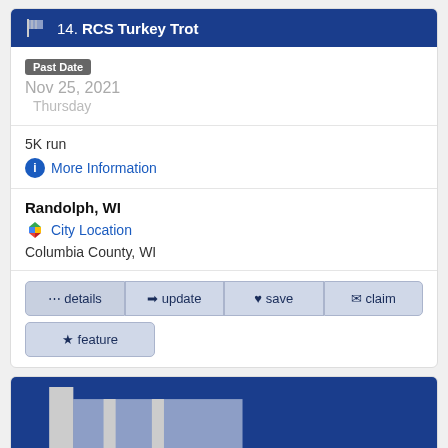14. RCS Turkey Trot
Past Date
Nov 25, 2021
Thursday
5K run
More Information
Randolph, WI
City Location
Columbia County, WI
... details | update | save | claim | feature
15. Red Run Turkey Trot